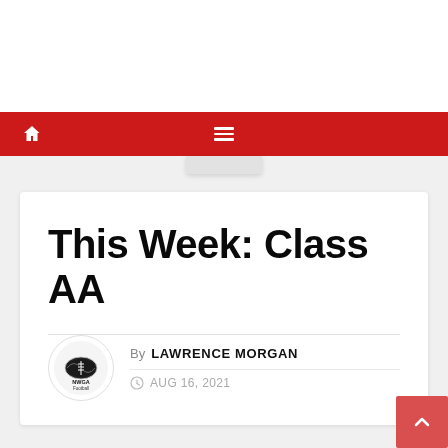Navigation bar with home icon and menu icon — NWGA Football website
This Week: Class AA
By LAWRENCE MORGAN
AUG 16, 2021